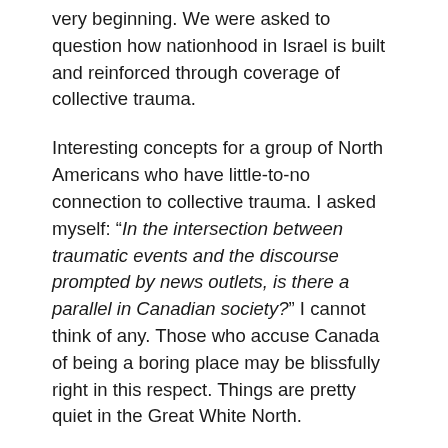very beginning. We were asked to question how nationhood in Israel is built and reinforced through coverage of collective trauma.
Interesting concepts for a group of North Americans who have little-to-no connection to collective trauma. I asked myself: “In the intersection between traumatic events and the discourse prompted by news outlets, is there a parallel in Canadian society?” I cannot think of any. Those who accuse Canada of being a boring place may be blissfully right in this respect. Things are pretty quiet in the Great White North.
So I moved to thinking about American society. Of course, the immediate inclination is to hold up news coverage of 9/11 as the obvious American mirror to Israel. But I would actually argue that this is not an exact parallel; it’s more of a simulacrum. While the news coverage of 9/11 depicted